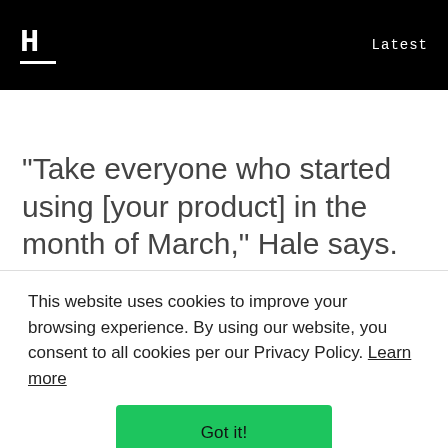H  Latest
“Take everyone who started using [your product] in the month of March,” Hale says. “Now, let’s follow them forward in time…How
This website uses cookies to improve your browsing experience. By using our website, you consent to all cookies per our Privacy Policy. Learn more
Got it!